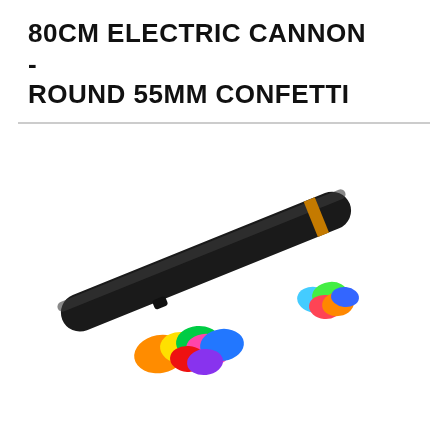80CM ELECTRIC CANNON - ROUND 55MM CONFETTI
[Figure (photo): A black 80cm electric confetti cannon tube lying diagonally, with scattered round multicoloured confetti discs (orange, yellow, green, pink, blue, red, purple) shown beside it.]